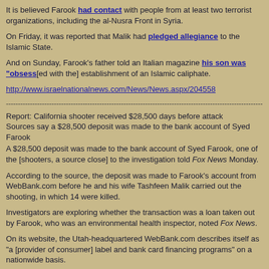It is believed Farook had contact with people from at least two terrorist organizations, including the al-Nusra Front in Syria.
On Friday, it was reported that Malik had pledged allegiance to the Islamic S[tate].
And on Sunday, Farook's father told an Italian magazine his son was "obsess[ed]" [with the] establishment of an Islamic caliphate.
http://www.israelnationalnews.com/News/News.aspx/204558
---[divider line]---
Report: California shooter received $28,500 days before attack
Sources say a $28,500 deposit was made to the bank account of Syed Faroo[k].
A $28,500 deposit was made to the bank account of Syed Farook, one of the [shooters, a source close] to the investigation told Fox News Monday.
According to the source, the deposit was made to Farook's account from We[bBank.com] before he and his wife Tashfeen Malik carried out the shooting, in which 14 were kille[d].
Investigators are exploring whether the transaction was a loan taken out by F[arook], who was an environmental health inspector, noted Fox News.
On its website, the Utah-headquartered WebBank.com describes itself as "a [provider of consumer] label and bank card financing programs" on a nationwide basis.
On or about November 20, Farook reportedly converted $10,000 to cash, and[...] Bernardino. Afterwards, in the days before the shooting, there were at least th[ree] Farook's mother.
The loan and large cash withdrawal were described to Fox News by the sour[ce as aimed to] undercut the premise that an argument at the Christmas party on December [2 triggered the attack].